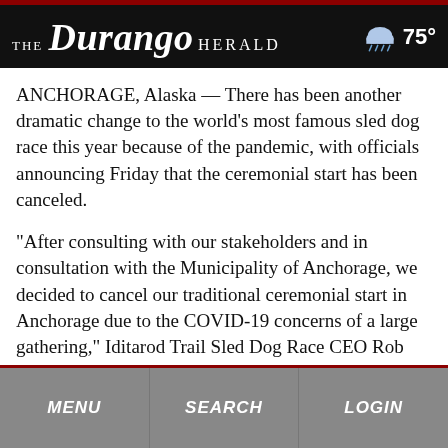THE Durango HERALD — 75°
ANCHORAGE, Alaska — There has been another dramatic change to the world's most famous sled dog race this year because of the pandemic, with officials announcing Friday that the ceremonial start has been canceled.
“After consulting with our stakeholders and in consultation with the Municipality of Anchorage, we decided to cancel our traditional ceremonial start in Anchorage due to the COVID-19 concerns of a large gathering,” Iditarod Trail Sled Dog Race CEO Rob Urbach said in a statement.
MENU   SEARCH   LOGIN